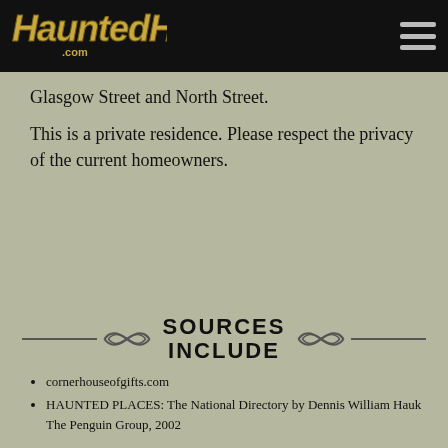HauntedHouses.com
Glasgow Street and North Street.
This is a private residence. Please respect the privacy of the current homeowners.
SOURCES INCLUDE
cornerhouseofgifts.com
HAUNTED PLACES: The National Directory by Dennis William Hauk The Penguin Group, 2002